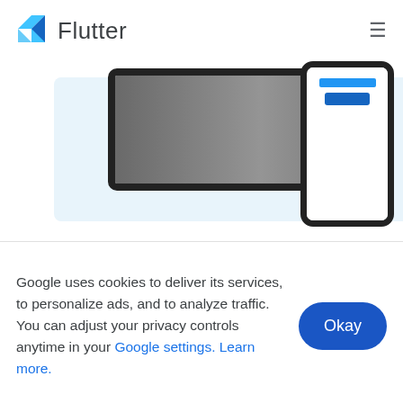Flutter
[Figure (screenshot): Two mobile phone mockups showing Flutter app screenshots on a light blue background. Left phone shows a dark landscape image app. Right phone shows a white screen with a blue UI element.]
Multi-Platform
Google uses cookies to deliver its services, to personalize ads, and to analyze traffic. You can adjust your privacy controls anytime in your Google settings. Learn more.